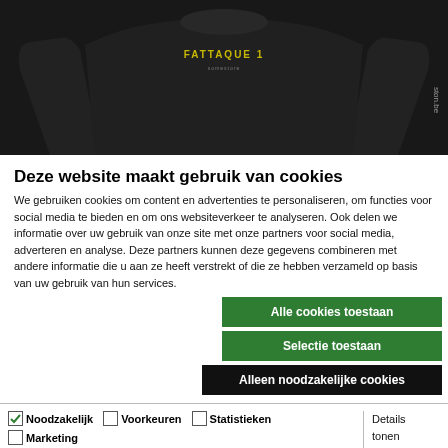[Figure (photo): Black sweater/long-sleeve shirt with yellow text 'FATTAQUE 1' on dark background, displayed on e-commerce product page]
Deze website maakt gebruik van cookies
We gebruiken cookies om content en advertenties te personaliseren, om functies voor social media te bieden en om ons websiteverkeer te analyseren. Ook delen we informatie over uw gebruik van onze site met onze partners voor social media, adverteren en analyse. Deze partners kunnen deze gegevens combineren met andere informatie die u aan ze heeft verstrekt of die ze hebben verzameld op basis van uw gebruik van hun services.
Alle cookies toestaan
Selectie toestaan
Alleen noodzakelijke cookies
Noodzakelijk  Voorkeuren  Statistieken  Marketing  Details tonen